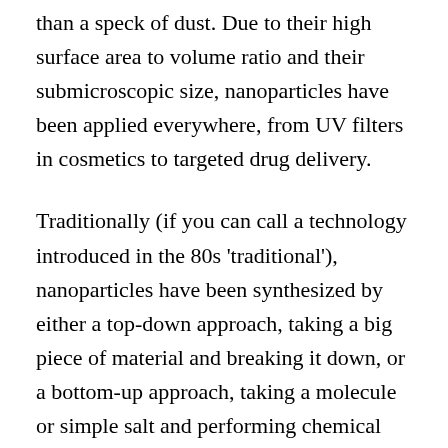than a speck of dust. Due to their high surface area to volume ratio and their submicroscopic size, nanoparticles have been applied everywhere, from UV filters in cosmetics to targeted drug delivery.
Traditionally (if you can call a technology introduced in the 80s 'traditional'), nanoparticles have been synthesized by either a top-down approach, taking a big piece of material and breaking it down, or a bottom-up approach, taking a molecule or simple salt and performing chemical reactions to build them up atom-by-atom. Most of these methods lead to a high cost of production, high energy input, and the production of toxic byproducts. However, for an